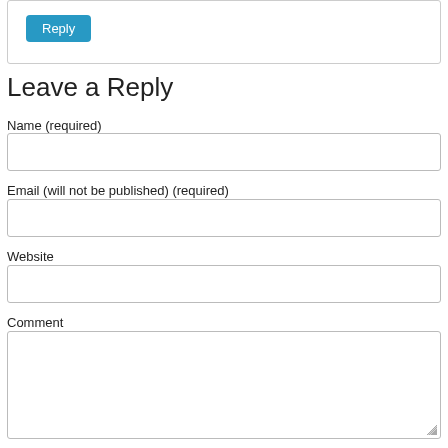[Figure (screenshot): Partial comment block with a Reply button (teal/blue)]
Leave a Reply
Name (required)
[Figure (screenshot): Name input text field]
Email (will not be published) (required)
[Figure (screenshot): Email input text field]
Website
[Figure (screenshot): Website input text field]
Comment
[Figure (screenshot): Comment textarea]